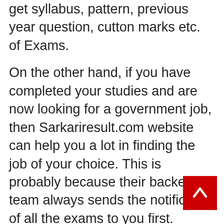get syllabus, pattern, previous year question, cutton marks etc. of Exams.
On the other hand, if you have completed your studies and are now looking for a government job, then Sarkariresult.com website can help you a lot in finding the job of your choice. This is probably because their backend team always sends the notification of all the exams to you first.
At the same time, the information of all exams and jobs is also kept updated in the website.
Read Also – 123MKV | Free HD Full Movies Bollywood Telgu Hindi